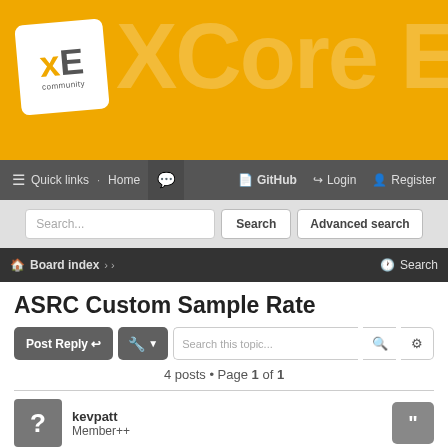[Figure (screenshot): XCore Exchange community forum header banner with yellow/gold background showing XE community logo and 'XCore Ex' text]
Quick links  Home  GitHub  Login  Register
Search... Search Advanced search
Board index › › Search
ASRC Custom Sample Rate
Post Reply  [tools]  Search this topic...  4 posts • Page 1 of 1
kevpatt
Member++
ASRC Custom Sample Rate
Sun Apr 03, 2022 9:20 pm